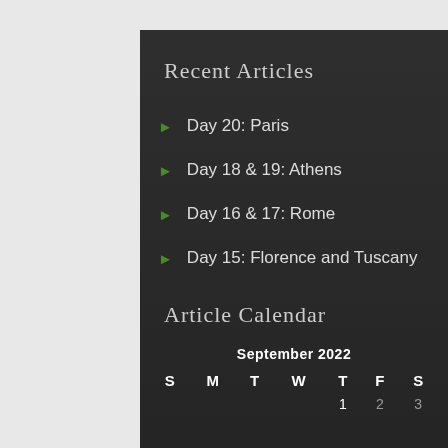Recent Articles
Day 20: Paris
Day 18 & 19: Athens
Day 16 & 17: Rome
Day 15: Florence and Tuscany
Article Calendar
| S | M | T | W | T | F | S |
| --- | --- | --- | --- | --- | --- | --- |
|  |  |  |  | 1 | 2 | 3 |